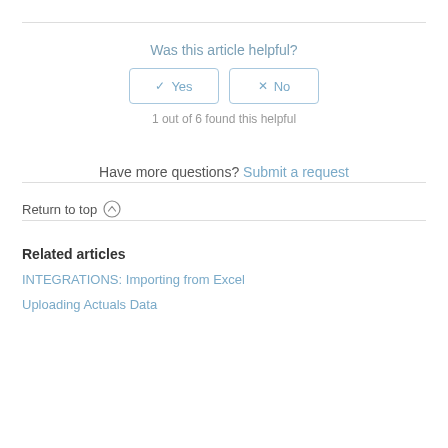Was this article helpful?
✓ Yes   ✕ No
1 out of 6 found this helpful
Have more questions? Submit a request
Return to top ↑
Related articles
INTEGRATIONS: Importing from Excel
Uploading Actuals Data